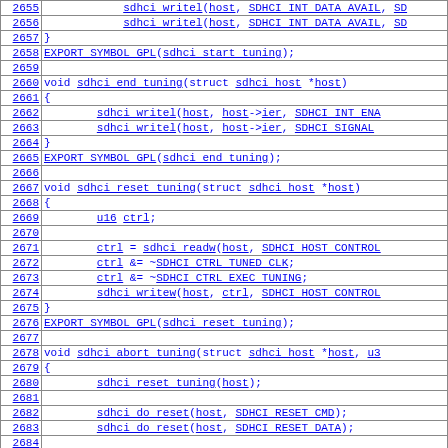Source code listing lines 2655-2684, showing sdhci driver functions: sdhci_end_tuning, sdhci_reset_tuning, sdhci_abort_tuning